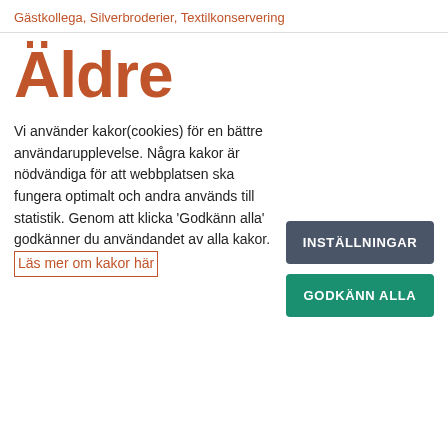Gästkollega, Silverbroderier, Textilkonservering
Äldre
Vi använder kakor(cookies) för en bättre användarupplevelse. Några kakor är nödvändiga för att webbplatsen ska fungera optimalt och andra används till statistik. Genom att klicka 'Godkänn alla' godkänner du användandet av alla kakor.
Läs mer om kakor här
INSTÄLLNINGAR
GODKÄNN ALLA